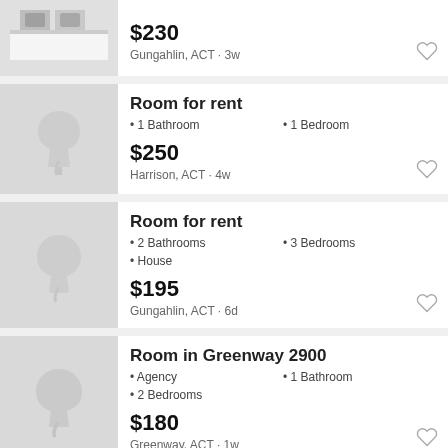[Figure (screenshot): Partial listing card at top showing a real photo of a modern room interior with a price of $230, Gungahlin ACT, 3w ago]
$230
Gungahlin, ACT · 3w
[Figure (illustration): Placeholder tree icon for Room for rent listing]
Room for rent
• 1 Bathroom • 1 Bedroom
$250
Harrison, ACT · 4w
[Figure (illustration): Placeholder tree icon for Room for rent listing]
Room for rent
• 2 Bathrooms • 3 Bedrooms
• House
$195
Gungahlin, ACT · 6d
[Figure (illustration): Placeholder tree icon for Room in Greenway 2900 listing]
Room in Greenway 2900
• Agency • 1 Bathroom
• 2 Bedrooms
$180
Greenway, ACT · 1w
[Figure (photo): Partial listing card at bottom showing photo thumbnail]
3 bed room house for rent in Moncrieff A...